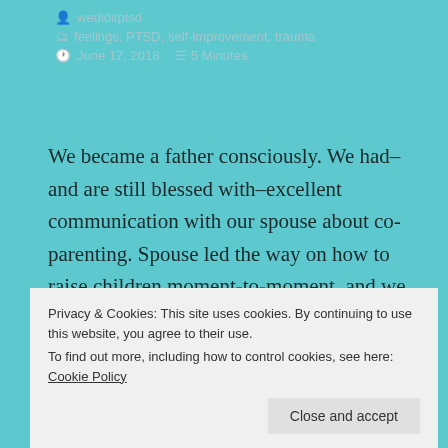wediditptsd
feelings, PTSD, self-improvement, trauma
June 17, 2018   5 Minutes
We became a father consciously. We had–and are still blessed with–excellent communication with our spouse about co-parenting. Spouse led the way on how to raise children moment-to-moment, and we listened. Spouse has very sound judgment.
When the kids were little, our Good Dad part was
Privacy & Cookies: This site uses cookies. By continuing to use this website, you agree to their use.
To find out more, including how to control cookies, see here: Cookie Policy
Close and accept